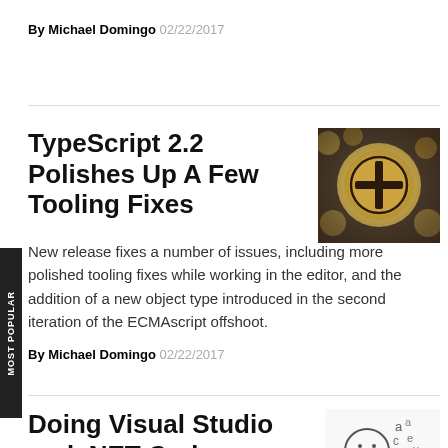By Michael Domingo 02/22/2017
TypeScript 2.2 Polishes Up A Few Tooling Fixes
[Figure (photo): Vintage typewriter key close-up with golden circular key showing a cross/plus symbol]
New release fixes a number of issues, including more polished tooling fixes while working in the editor, and the addition of a new object type introduced in the second iteration of the ECMAscript offshoot.
By Michael Domingo 02/22/2017
Doing Visual Studio and .NET Code Documentation